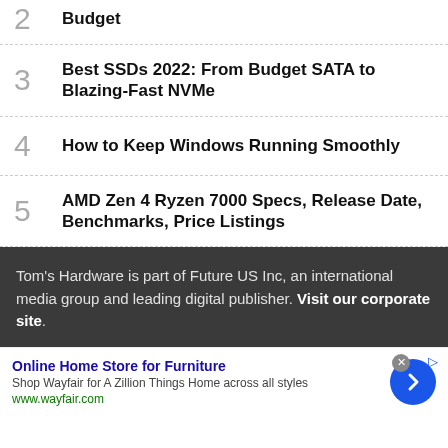2 Budget
3 Best SSDs 2022: From Budget SATA to Blazing-Fast NVMe
4 How to Keep Windows Running Smoothly
5 AMD Zen 4 Ryzen 7000 Specs, Release Date, Benchmarks, Price Listings
Tom's Hardware is part of Future US Inc, an international media group and leading digital publisher. Visit our corporate site.
Online Home Store for Furniture
Shop Wayfair for A Zillion Things Home across all styles
www.wayfair.com